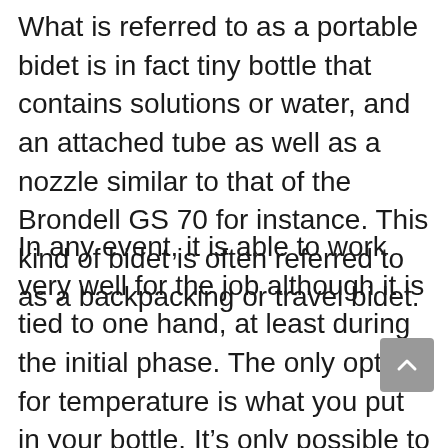What is referred to as a portable bidet is in fact tiny bottle that contains solutions or water, and an attached tube as well as a nozzle similar to that of the Brondell GS 70 for instance. This kind of bidet is often referred to as a backpacking or travel bidet.
In any event, it is able to work very well for the job although it is tied to one hand, at least during the initial phase. The only option for temperature is what you put in your bottle. It’s only possible to spray warm water if it’s readily available from a nearby faucet. They are available in two basic varieties: non-